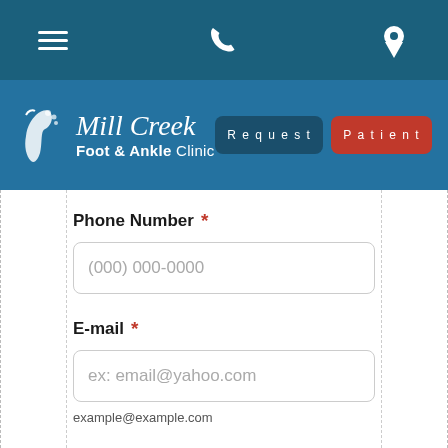Mill Creek Foot & Ankle Clinic — Navigation bar with hamburger menu, phone, and location icons; Request and Patient buttons
[Figure (logo): Mill Creek Foot & Ankle Clinic logo with foot illustration on teal/blue background, with Request and Patient buttons]
Phone Number *
(000) 000-0000
E-mail *
ex: email@yahoo.com
example@example.com